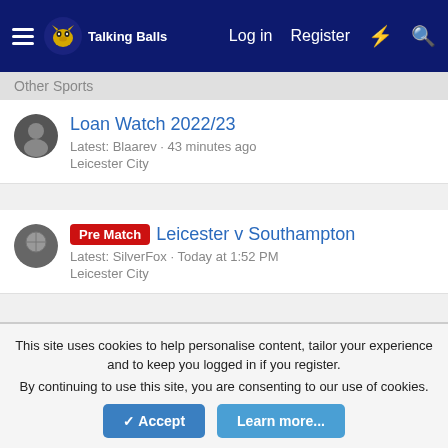Talking Balls | Log in | Register
Other Sports
Loan Watch 2022/23
Latest: Blaarev · 43 minutes ago
Leicester City
Pre Match | Leicester v Southampton
Latest: SilverFox · Today at 1:52 PM
Leicester City
< Football
🔌 Default Style
Contact us | Terms and rules | Privacy policy | Help | Home
Community platform by XenForo® © 2010-2021 XenForo Ltd.
This site uses cookies to help personalise content, tailor your experience and to keep you logged in if you register.
By continuing to use this site, you are consenting to our use of cookies.
Accept | Learn more...